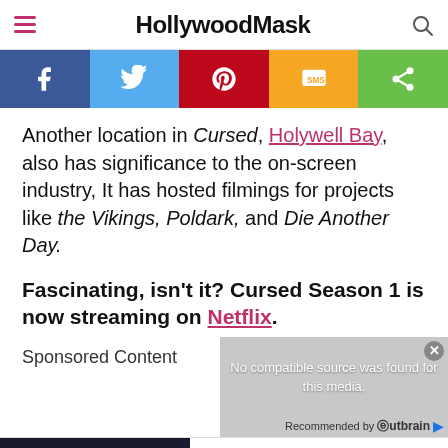HollywoodMask
[Figure (infographic): Social sharing bar with Facebook, Twitter, Pinterest, SMS, and Share buttons in blue, light blue, red, orange, and green colors]
Another location in Cursed, Holywell Bay, also has significance to the on-screen industry, It has hosted filmings for projects like the Vikings, Poldark, and Die Another Day.
Fascinating, isn't it?  Cursed Season 1 is now streaming on Netflix.
Sponsored Content
[Figure (screenshot): Ad overlay with 'No compatible source was found for this media.' message, Recommended by Outbrain label, and Porsche 911 advertisement showing car image with 'The new 911. Ever ahead. LEARN MORE' text]